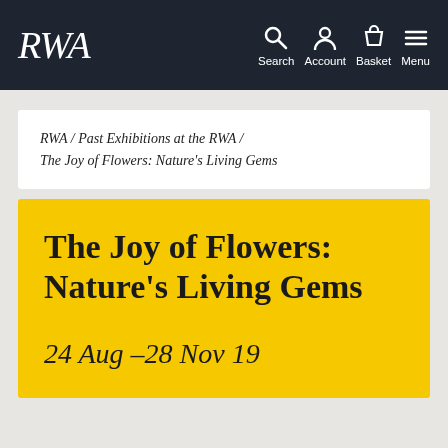RWA — Search Account Basket Menu
RWA / Past Exhibitions at the RWA / The Joy of Flowers: Nature's Living Gems
The Joy of Flowers: Nature's Living Gems
24 Aug –28 Nov 19